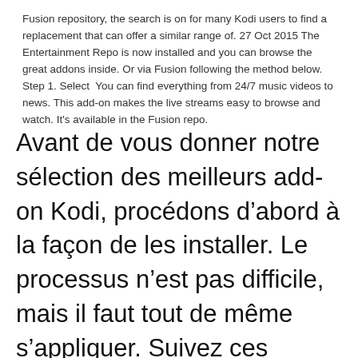Fusion repository, the search is on for many Kodi users to find a replacement that can offer a similar range of. 27 Oct 2015 The Entertainment Repo is now installed and you can browse the great addons inside. Or via Fusion following the method below. Step 1. Select  You can find everything from 24/7 music videos to news. This add-on makes the live streams easy to browse and watch. It's available in the Fusion repo.
Avant de vous donner notre sélection des meilleurs add-on Kodi, procédons d'abord à la façon de les installer. Le processus n'est pas difficile, mais il faut tout de même s'appliquer. Suivez ces étapes à la lettre et vous n'éprouverez aucune difficulté. Vous